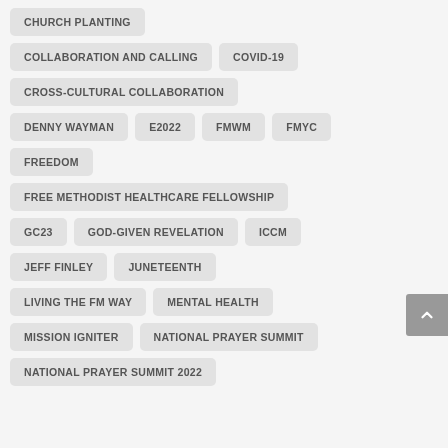CHURCH PLANTING
COLLABORATION AND CALLING
COVID-19
CROSS-CULTURAL COLLABORATION
DENNY WAYMAN
E2022
FMWM
FMYC
FREEDOM
FREE METHODIST HEALTHCARE FELLOWSHIP
GC23
GOD-GIVEN REVELATION
ICCM
JEFF FINLEY
JUNETEENTH
LIVING THE FM WAY
MENTAL HEALTH
MISSION IGNITER
NATIONAL PRAYER SUMMIT
NATIONAL PRAYER SUMMIT 2022